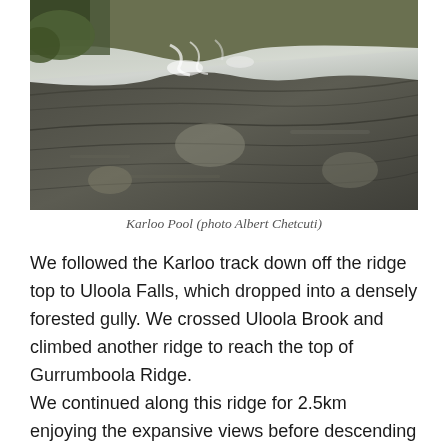[Figure (photo): Photograph of Karloo Pool showing water flowing over dark layered rock slabs with white water cascading in the background, taken by Albert Chetcuti.]
Karloo Pool (photo Albert Chetcuti)
We followed the Karloo track down off the ridge top to Uloola Falls, which dropped into a densely forested gully. We crossed Uloola Brook and climbed another ridge to reach the top of Gurrumboola Ridge.
We continued along this ridge for 2.5km enjoying the expansive views before descending via White